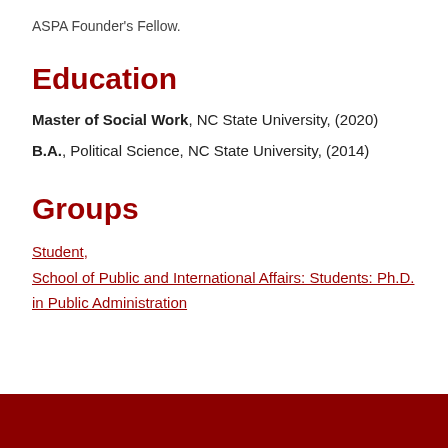ASPA Founder's Fellow.
Education
Master of Social Work, NC State University, (2020)
B.A., Political Science, NC State University, (2014)
Groups
Student, School of Public and International Affairs: Students: Ph.D. in Public Administration